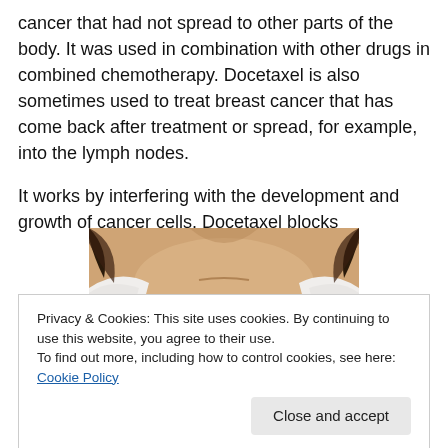cancer that had not spread to other parts of the body. It was used in combination with other drugs in combined chemotherapy. Docetaxel is also sometimes used to treat breast cancer that has come back after treatment or spread, for example, into the lymph nodes.
It works by interfering with the development and growth of cancer cells. Docetaxel blocks
[Figure (photo): Close-up photo of a person's chest/collarbone area showing skin, wearing a white and dark striped garment, with hair visible at sides.]
Privacy & Cookies: This site uses cookies. By continuing to use this website, you agree to their use.
To find out more, including how to control cookies, see here: Cookie Policy
Close and accept